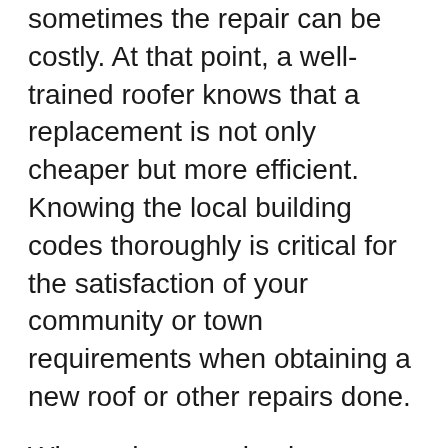sometimes the repair can be costly. At that point, a well-trained roofer knows that a replacement is not only cheaper but more efficient. Knowing the local building codes thoroughly is critical for the satisfaction of your community or town requirements when obtaining a new roof or other repairs done.
When a home or business owner in Canaan Lake, NY wants a fresh start, they usually ask their friends and neighbors for recommendations. For many people, that means going to a roofing contractor in Suffolk County. A reliable one will have references from previous customers, and a few will even have videos to show you the work they have done. It may take a bit of time to find a Long Island Roofer willing to take on a large renovation or building project, but it will be worth the time spent. From the time it takes to get the job started to the time it takes for the finished result to be satisfactory, you are sure to get a great return on your investment.